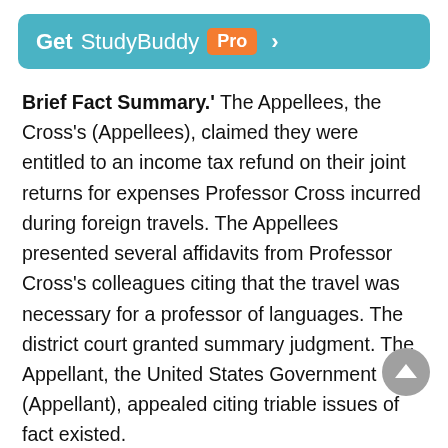[Figure (other): Get StudyBuddy Pro banner with teal background and orange Pro badge]
Brief Fact Summary.' The Appellees, the Cross's (Appellees), claimed they were entitled to an income tax refund on their joint returns for expenses Professor Cross incurred during foreign travels. The Appellees presented several affidavits from Professor Cross's colleagues citing that the travel was necessary for a professor of languages. The district court granted summary judgment. The Appellant, the United States Government (Appellant), appealed citing triable issues of fact existed.
Synopsis of Rule of Law. Federal Rule of Civil